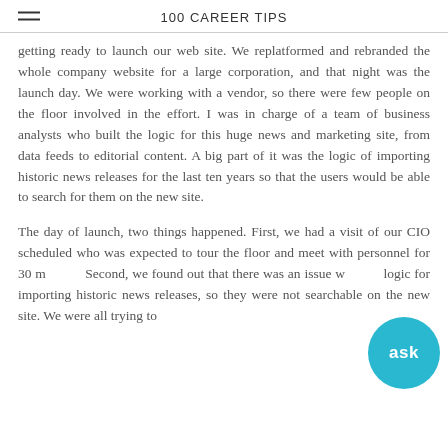100 CAREER TIPS
getting ready to launch our web site. We replatformed and rebranded the whole company website for a large corporation, and that night was the launch day. We were working with a vendor, so there were few people on the floor involved in the effort. I was in charge of a team of business analysts who built the logic for this huge news and marketing site, from data feeds to editorial content. A big part of it was the logic of importing historic news releases for the last ten years so that the users would be able to search for them on the new site.
The day of launch, two things happened. First, we had a visit of our CIO scheduled who was expected to tour the floor and meet with personnel for 30 m... Second, we found out that there was an issue w... logic for importing historic news releases, so they were not searchable on the new site. We were all trying to